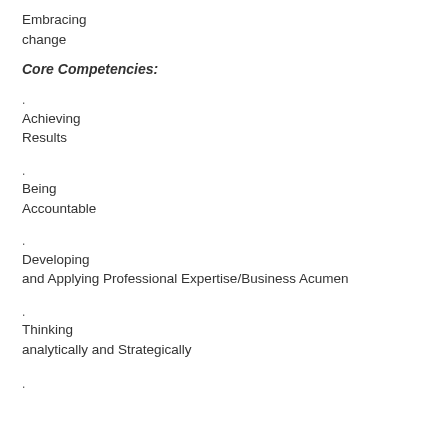Embracing change
Core Competencies:
. Achieving Results
. Being Accountable
. Developing and Applying Professional Expertise/Business Acumen
. Thinking analytically and Strategically
.